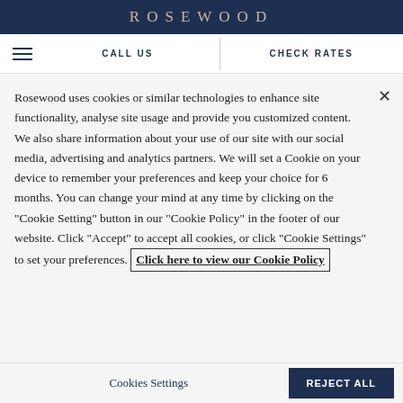ROSEWOOD
CALL US | CHECK RATES
Rosewood uses cookies or similar technologies to enhance site functionality, analyse site usage and provide you customized content. We also share information about your use of our site with our social media, advertising and analytics partners. We will set a Cookie on your device to remember your preferences and keep your choice for 6 months. You can change your mind at any time by clicking on the "Cookie Setting" button in our "Cookie Policy" in the footer of our website. Click "Accept" to accept all cookies, or click "Cookie Settings" to set your preferences. Click here to view our Cookie Policy
Cookies Settings
Reject All